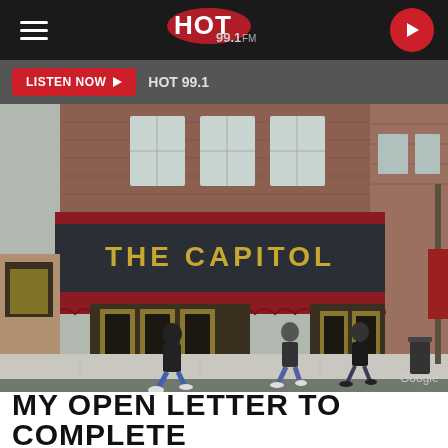HOT 99.1 FM - radio station website header with hamburger menu, Hot 99.1 FM logo, and play button
LISTEN NOW  HOT 99.1
[Figure (photo): Street-level Google Street View photo of The Capitol venue/theater. Large dark marquee sign reads 'THE CAPITOL' in gold letters. Red awning with scalloped edge below. Brick building facade. Several pedestrians walking on sidewalk in front. 'Google' watermark in bottom right corner.]
MY OPEN LETTER TO COMPLETE